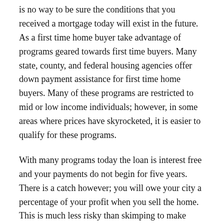is no way to be sure the conditions that you received a mortgage today will exist in the future. As a first time home buyer take advantage of programs geared towards first time buyers. Many state, county, and federal housing agencies offer down payment assistance for first time home buyers. Many of these programs are restricted to mid or low income individuals; however, in some areas where prices have skyrocketed, it is easier to qualify for these programs.
With many programs today the loan is interest free and your payments do not begin for five years. There is a catch however; you will owe your city a percentage of your profit when you sell the home. This is much less risky than skimping to make adjustable rate mortgage payments.
Weigh the risks associated with an adjustable rate mortgage against the lower initial payments and you may save yourself a lot of heartache down the line.